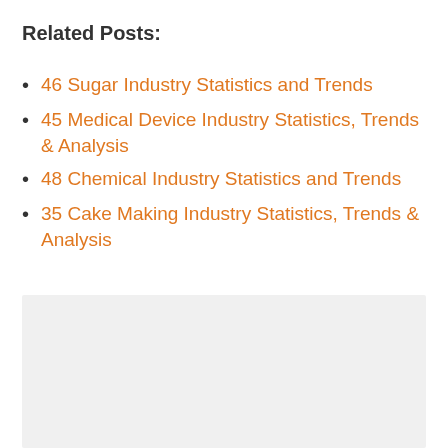Related Posts:
46 Sugar Industry Statistics and Trends
45 Medical Device Industry Statistics, Trends & Analysis
48 Chemical Industry Statistics and Trends
35 Cake Making Industry Statistics, Trends & Analysis
[Figure (other): Gray placeholder box at the bottom of the page]